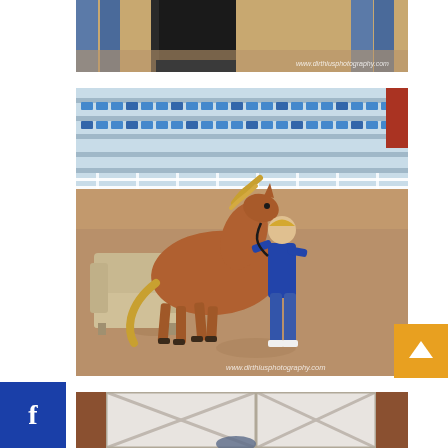[Figure (photo): Partial view of people's legs in jeans standing next to a dark horse in a sandy arena, with watermark www.dirthiusphotography.com]
[Figure (photo): A chestnut miniature horse or pony interacting with a tan armchair prop in a dirt arena, being handled by a person in blue clothing. Bleachers with spectators visible in background. Watermark www.dirthiusphotography.com]
[Figure (photo): Partial view of what appears to be a barn interior with white X-braced doors]